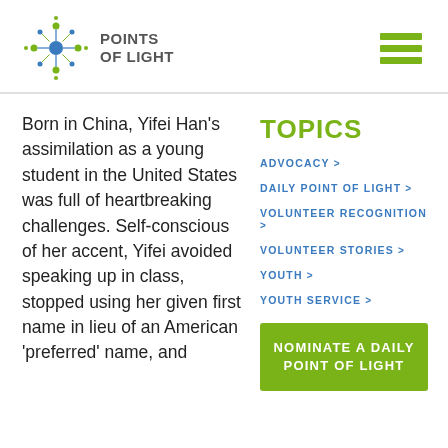[Figure (logo): Points of Light logo with star/dot graphic and text 'POINTS OF LIGHT']
Born in China, Yifei Han's assimilation as a young student in the United States was full of heartbreaking challenges. Self-conscious of her accent, Yifei avoided speaking up in class, stopped using her given first name in lieu of an American 'preferred' name, and
TOPICS
ADVOCACY >
DAILY POINT OF LIGHT >
VOLUNTEER RECOGNITION >
VOLUNTEER STORIES >
YOUTH >
YOUTH SERVICE >
NOMINATE A DAILY POINT OF LIGHT